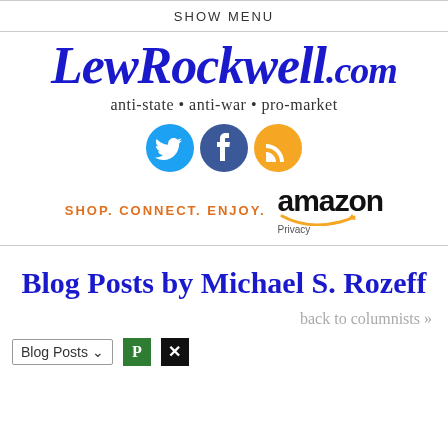SHOW MENU
LewRockwell.com
anti-state • anti-war • pro-market
[Figure (illustration): Three social media icons: Twitter (cyan circle with bird), Facebook (dark blue circle with f), RSS (orange circle with feed icon)]
[Figure (logo): Amazon logo with smile arrow and text: SHOP. CONNECT. ENJOY. Privacy]
Blog Posts by Michael S. Rozeff
back to columnists »
Blog Posts ▾  P  ✕